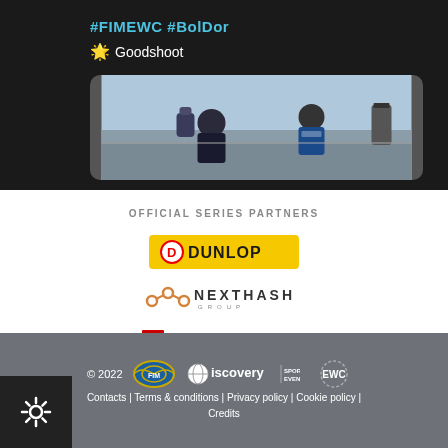#FIMEWC #BolDor
🌟 Goodshoot
[Figure (photo): Motorcycle racing photo showing two riders/crew members from behind, at a race circuit, one in a Yamaha jersey]
OFFICIAL SERIES PARTNERS
[Figure (logo): Dunlop logo - yellow background with black text and D logo]
[Figure (logo): NextHash Group logo - orange chain-link icon with NEXTHASH GROUP text]
[Figure (logo): REMUS Performance Sport Exhausts logo - red and black text]
[Figure (logo): Webike logo - black italic text with exclamation mark]
© 2022  [FIM logo] [Discovery Sports Events logo] [EWC logo]  Contacts | Terms & conditions | Privacy policy | Cookie policy | Credits